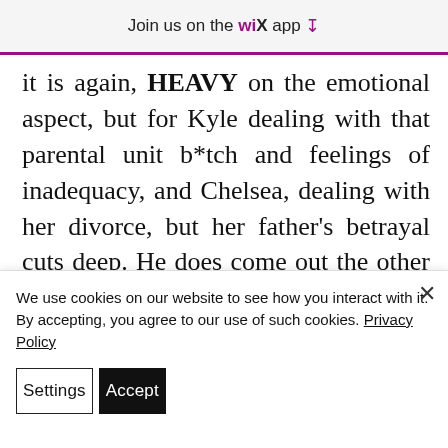Join us on the WiX app ↓
it is again, HEAVY on the emotional aspect, but for Kyle dealing with that parental unit b*tch and feelings of inadequacy, and Chelsea, dealing with her divorce, but her father's betrayal cuts deep. He does come out the other side, but faced with losing both his daughters will make anyone turnaround rapidly!
We use cookies on our website to see how you interact with it. By accepting, you agree to our use of such cookies. Privacy Policy
Settings
Accept